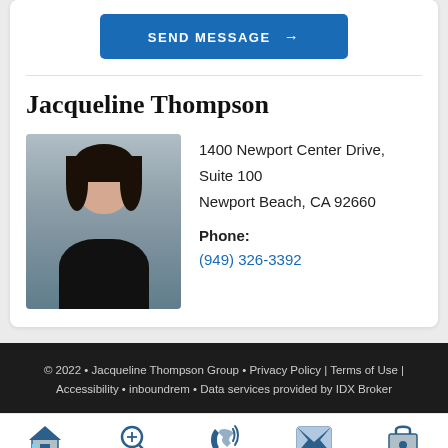SEND MESSAGE →
Jacqueline Thompson
[Figure (photo): Headshot photo of Jacqueline Thompson, a woman with dark hair, smiling, wearing a black top]
1400 Newport Center Drive, Suite 100
Newport Beach, CA 92660
Phone:
(949) 326-3392
© 2022 • Jacqueline Thompson Group • Privacy Policy | Terms of Use | Accessibility • inboundrem • Data services provided by IDX Broker
Home  Search  Call  Email  Account